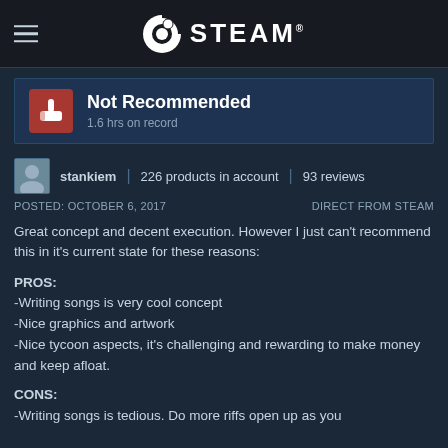STEAM
Not Recommended
1.6 hrs on record
stankiem | 226 products in account | 93 reviews
POSTED: OCTOBER 6, 2017    DIRECT FROM STEAM
Great concept and decent execution. However I just can't recommend this in it's current state for these reasons:
PROS:
-Writing songs is very cool concept
-Nice graphics and artwork
-Nice tycoon aspects, it's challenging and rewarding to make money and keep afloat.
CONS:
-Writing songs is tedious. Do more riffs open up as you